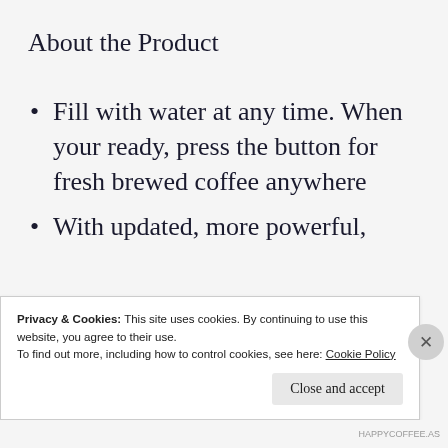About the Product
Fill with water at any time. When your ready, press the button for fresh brewed coffee anywhere
With updated, more powerful,
Privacy & Cookies: This site uses cookies. By continuing to use this website, you agree to their use.
To find out more, including how to control cookies, see here: Cookie Policy
Close and accept